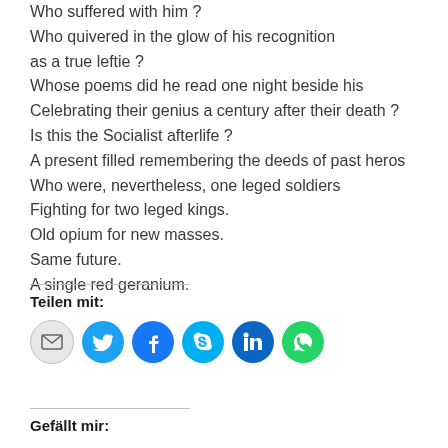Who suffered with him ?
Who quivered in the glow of his recognition
as a true leftie ?
Whose poems did he read one night beside his
Celebrating their genius a century after their death ?
Is this the Socialist afterlife ?
A present filled remembering the deeds of past heros
Who were, nevertheless, one leged soldiers
Fighting for two leged kings.
Old opium for new masses.
Same future.
A single red geranium.
Teilen mit:
[Figure (infographic): Row of six social sharing icon buttons: email (grey), Twitter (blue), Facebook (dark blue), Skype (light blue), LinkedIn (dark blue), WhatsApp (green)]
Gefällt mir: